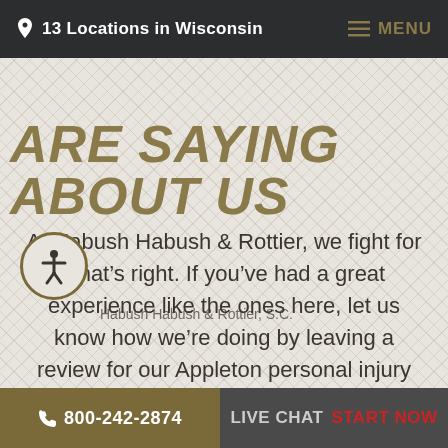13 Locations in Wisconsin   MENU
ARE SAYING ABOUT US
At Habush Habush & Rottier, we fight for what’s right. If you’ve had a great experience like the ones here, let us know how we’re doing by leaving a review for our Appleton personal injury attorneys.
800-242-2874   LIVE CHAT   START NOW